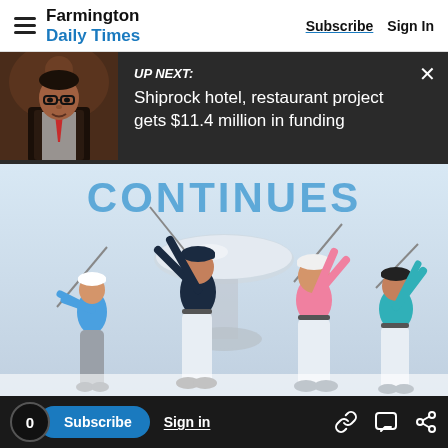Farmington Daily Times — Subscribe | Sign In
UP NEXT: Shiprock hotel, restaurant project gets $11.4 million in funding
[Figure (photo): Golf championship promotional image showing four golfers mid-swing with a large trophy in the background and text 'CONTINUES' across the top]
0  Subscribe  Sign in
CHAMPIONSHIP